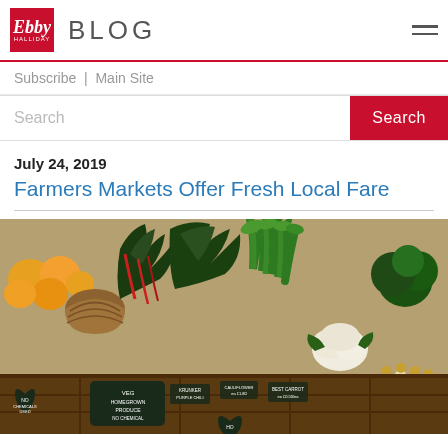BLOG
Subscribe | Main Site
Search
July 24, 2019
Farmers Markets Offer Fresh Local Fare
[Figure (photo): A farmers market vegetable stand displaying fresh produce including leafy greens, cauliflower, chard, celery, and root vegetables in wooden crates, with chalkboard signs reading 'No Chemicals Used', 'Veg Homegrown Produce', and 'No Chemicals'.]